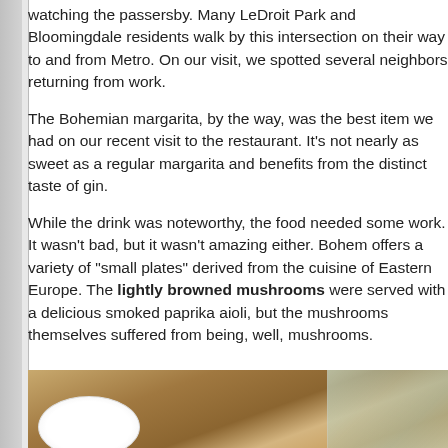watching the passersby. Many LeDroit Park and Bloomingdale residents walk by this intersection on their way to and from Metro. On our visit, we spotted several neighbors returning from work.
The Bohemian margarita, by the way, was the best item we had on our recent visit to the restaurant. It's not nearly as sweet as a regular margarita and benefits from the distinct taste of gin.
While the drink was noteworthy, the food needed some work. It wasn't bad, but it wasn't amazing either. Bohem offers a variety of "small plates" derived from the cuisine of Eastern Europe. The lightly browned mushrooms were served with a delicious smoked paprika aioli, but the mushrooms themselves suffered from being, well, mushrooms.
[Figure (photo): Photo of a wooden table top with a glass of clear liquid (water or cocktail) and a white plate partially visible, viewed from above at an angle.]